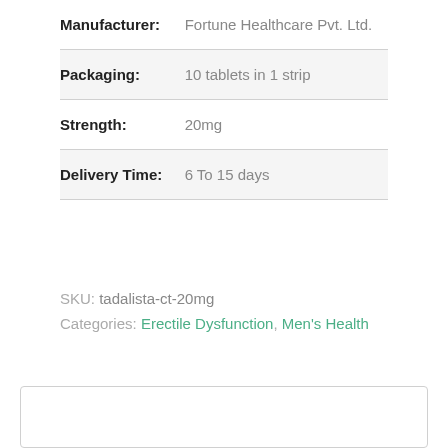| Field | Value |
| --- | --- |
| Manufacturer: | Fortune Healthcare Pvt. Ltd. |
| Packaging: | 10 tablets in 1 strip |
| Strength: | 20mg |
| Delivery Time: | 6 To 15 days |
SKU: tadalista-ct-20mg
Categories: Erectile Dysfunction, Men's Health